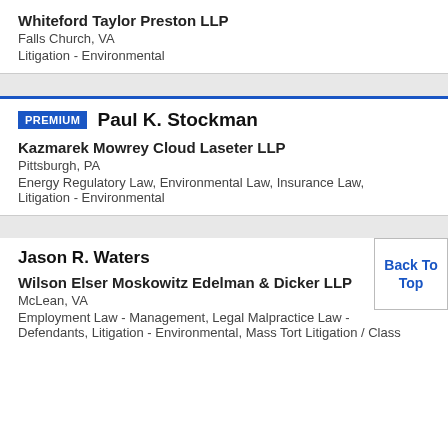Whiteford Taylor Preston LLP
Falls Church, VA
Litigation - Environmental
PREMIUM  Paul K. Stockman
Kazmarek Mowrey Cloud Laseter LLP
Pittsburgh, PA
Energy Regulatory Law, Environmental Law, Insurance Law, Litigation - Environmental
Jason R. Waters
Wilson Elser Moskowitz Edelman & Dicker LLP
McLean, VA
Employment Law - Management, Legal Malpractice Law - Defendants, Litigation - Environmental, Mass Tort Litigation / Class